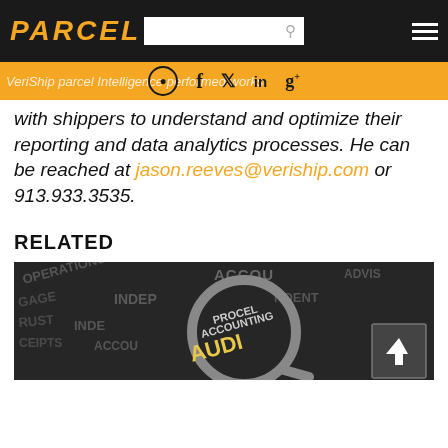PARCEL
VeriShip parcel Intelligence performed works with shippers to understand and optimize their reporting and data analytics processes. He can be reached at jason.reeves@veriship.com or 913.933.3535.
RELATED
[Figure (photo): Dark background image showing business/audit related text words like ACCOUNTING, AUDIT, PROCESS, with a magnifying glass overlay. Scroll-to-top button in bottom right corner.]